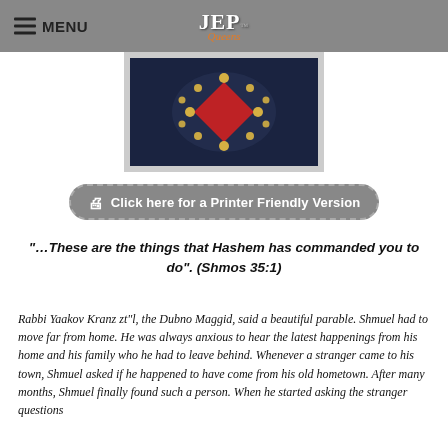MENU | JEP Queens
[Figure (screenshot): Dark blue background with a decorative marquee-style letter or symbol in red and gold lights]
Click here for a Printer Friendly Version
“…These are the things that Hashem has commanded you to do”. (Shmos 35:1)
Rabbi Yaakov Kranz zt“l, the Dubno Maggid, said a beautiful parable. Shmuel had to move far from home. He was always anxious to hear the latest happenings from his home and his family who he had to leave behind. Whenever a stranger came to his town, Shmuel asked if he happened to have come from his old hometown. After many months, Shmuel finally found such a person. When he started asking the stranger questions…